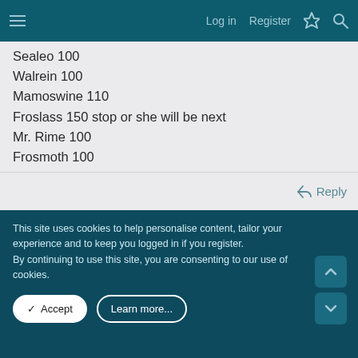≡  Log in  Register
Sealeo 100
Walrein 100
Mamoswine 110
Froslass 150 stop or she will be next
Mr. Rime 100
Frosmoth 100
Dewgong 100
Cloyster 100
Abomasnow 100
Weavile 110
Aurorus 100
Crabominable 50
↩ Reply
This site uses cookies to help personalise content, tailor your experience and to keep you logged in if you register.
By continuing to use this site, you are consenting to our use of cookies.
✓ Accept   Learn more...